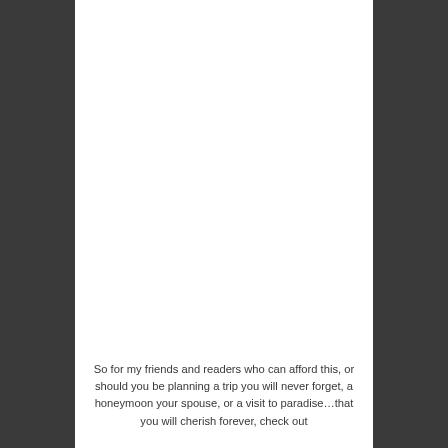So for my friends and readers who can afford this, or should you be planning a trip you will never forget, a honeymoon your spouse, or a visit to paradise…that you will cherish forever, check out